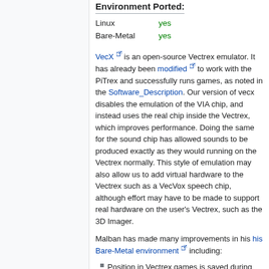Environment Ported:
Linux    yes
Bare-Metal    yes
VecX is an open-source Vectrex emulator. It has already been modified to work with the PiTrex and successfully runs games, as noted in the Software_Description. Our version of vecx disables the emulation of the VIA chip, and instead uses the real chip inside the Vectrex, which improves performance. Doing the same for the sound chip has allowed sounds to be produced exactly as they would running on the Vectrex normally. This style of emulation may also allow us to add virtual hardware to the Vectrex such as a VecVox speech chip, although effort may have to be made to support real hardware on the user's Vectrex, such as the 3D Imager.
Malban has made many improvements in his his Bare-Metal environment including:
Position in Vectrex games is saved during exit and can be resumed later.